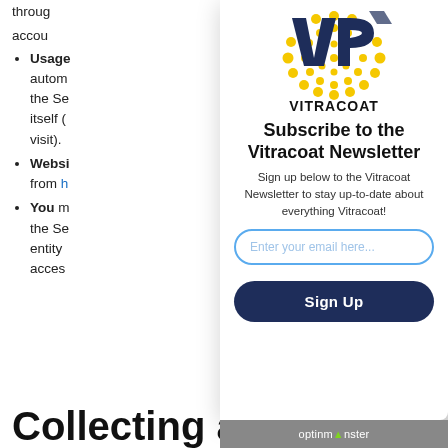through account
Usage autom the Se itself ( visit).
Websi from h
You m the Se entity acces
[Figure (logo): Vitracoat logo: yellow dot-pattern circle with VP letters in dark blue, and VITRACOAT wordmark below]
Subscribe to the Vitracoat Newsletter
Sign up below to the Vitracoat Newsletter to stay up-to-date about everything Vitracoat!
Enter your email here...
Sign Up
optinmonster
Collecting and